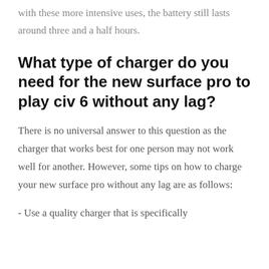with these more intensive uses, the battery still lasts around three and a half hours.
What type of charger do you need for the new surface pro to play civ 6 without any lag?
There is no universal answer to this question as the charger that works best for one person may not work well for another. However, some tips on how to charge your new surface pro without any lag are as follows:
- Use a quality charger that is specifically